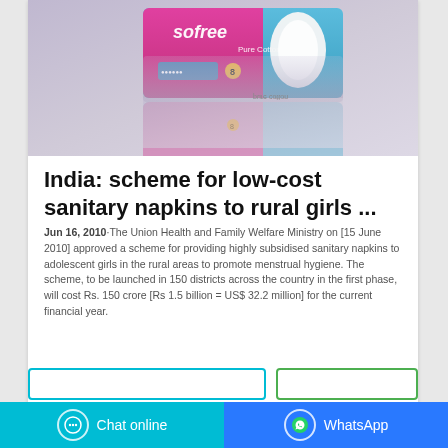[Figure (photo): Product photo of Sofree Pure Cotton sanitary napkins packaging, showing a blue and pink/magenta package with white sanitary pad displayed, with a reflection below. The brand name 'sofree' and 'Pure Cotton' text visible on the packaging.]
India: scheme for low-cost sanitary napkins to rural girls ...
Jun 16, 2010·The Union Health and Family Welfare Ministry on [15 June 2010] approved a scheme for providing highly subsidised sanitary napkins to adolescent girls in the rural areas to promote menstrual hygiene. The scheme, to be launched in 150 districts across the country in the first phase, will cost Rs. 150 crore [Rs 1.5 billion = US$ 32.2 million] for the current financial year.
Chat online  WhatsApp